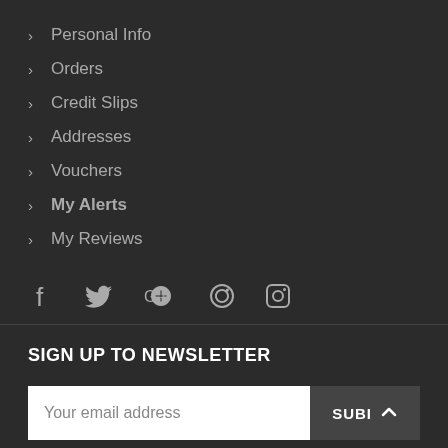> Personal Info
> Orders
> Credit Slips
> Addresses
> Vouchers
> My Alerts
> My Reviews
[Figure (other): Social media icons: Facebook, Twitter, Google+, Pinterest, Instagram]
SIGN UP TO NEWSLETTER
Your email address [input field] SUBI [button with up chevron]